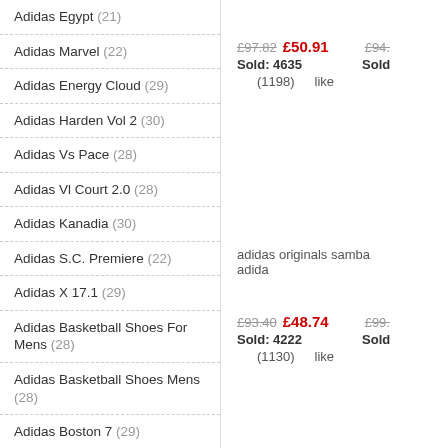Adidas Egypt (21)
Adidas Marvel (22)
Adidas Energy Cloud (29)
Adidas Harden Vol 2 (30)
Adidas Vs Pace (28)
Adidas Vl Court 2.0 (28)
Adidas Kanadia (30)
Adidas S.C. Premiere (22)
Adidas X 17.1 (29)
Adidas Basketball Shoes For Mens (28)
Adidas Basketball Shoes Mens (28)
Adidas Boston 7 (29)
Adidas Ultra Boost X (30)
Adidas X Ultra Boost (28)
Adidas Ultra Boost 3.0 (29)
£97.82  £50.91   Sold: 4635   (1198) like
adidas originals samba   adida
£93.40  £48.74   Sold: 4222   (1130) like